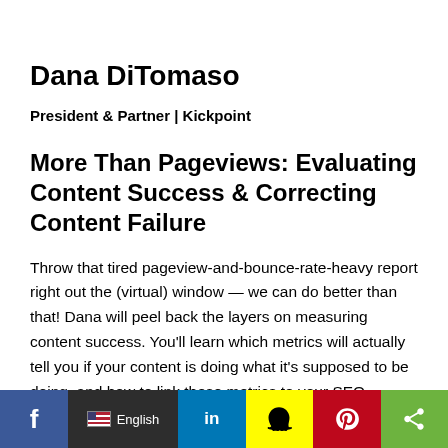Dana DiTomaso
President & Partner | Kickpoint
More Than Pageviews: Evaluating Content Success & Correcting Content Failure
Throw that tired pageview-and-bounce-rate-heavy report right out the (virtual) window — we can do better than that! Dana will peel back the layers on measuring content success. You'll learn which metrics will actually tell you if your content is doing what it's supposed to be doing, and how to link these metrics to your SEO
[Figure (infographic): Social media sharing bar with Facebook (blue), language selector showing English with US flag (dark), LinkedIn (blue), Snapchat (yellow), Pinterest (red), and share (green) buttons]